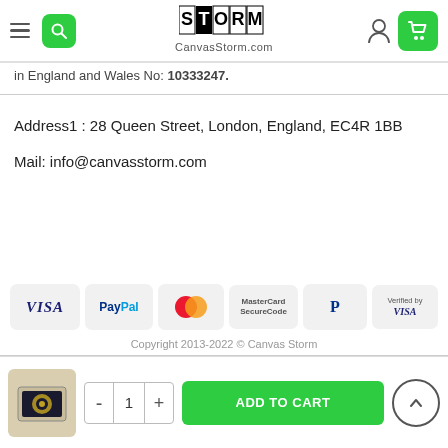CanvasStorm.com navigation header
in England and Wales No: 10333247.
Address1 : 28 Queen Street, London, England, EC4R 1BB
Mail: info@canvasstorm.com
[Figure (other): Payment method badges: VISA, PayPal, MasterCard, MasterCard SecureCode, PayPal P logo, Verified by VISA]
Copyright 2013-2022 © Canvas Storm
[Figure (other): Bottom bar with product thumbnail, quantity selector (- 1 +), ADD TO CART button, and scroll-to-top button]